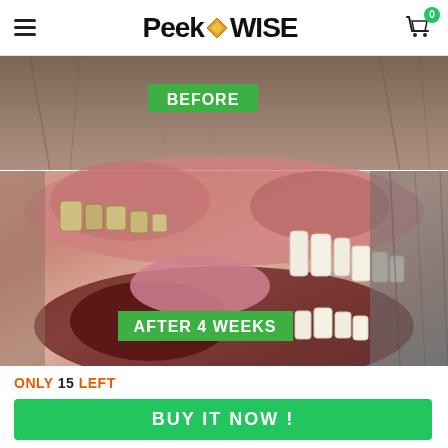PeekWise (logo with hamburger menu and cart)
[Figure (photo): Before and after comparison photo showing a dog's teeth/gums. Top panel labeled BEFORE shows unhealthy yellowish teeth with inflamed gums. Bottom panel labeled AFTER 4 WEEKS shows cleaner, whiter teeth with healthier-looking gums.]
ONLY 15 LEFT
BUY IT NOW !